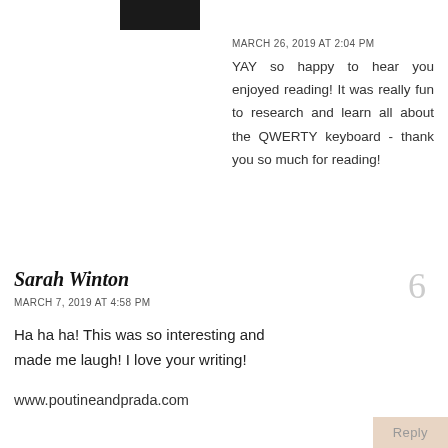[Figure (photo): Partial avatar/profile image, black rectangle at top]
MARCH 26, 2019 AT 2:04 PM
YAY so happy to hear you enjoyed reading! It was really fun to research and learn all about the QWERTY keyboard - thank you so much for reading!
Sarah Winton
MARCH 7, 2019 AT 4:58 PM
Ha ha ha! This was so interesting and made me laugh! I love your writing!
www.poutineandprada.com